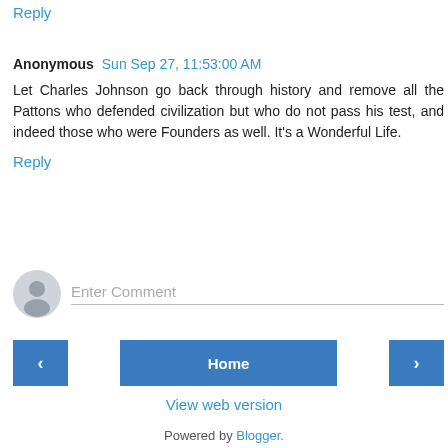Reply
Anonymous  Sun Sep 27, 11:53:00 AM
Let Charles Johnson go back through history and remove all the Pattons who defended civilization but who do not pass his test, and indeed those who were Founders as well. It's a Wonderful Life.
Reply
Enter Comment
Home
View web version
Powered by Blogger.